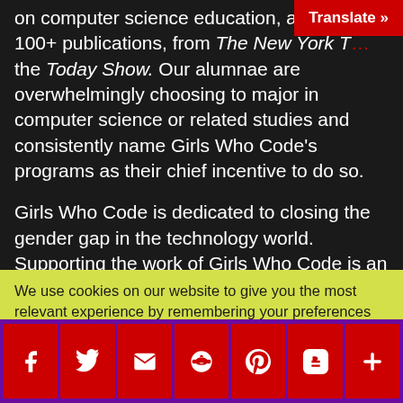on computer science education, and be 100+ publications, from The New York Times to the Today Show. Our alumnae are overwhelmingly choosing to major in computer science or related studies and consistently name Girls Who Code's programs as their chief incentive to do so.

Girls Who Code is dedicated to closing the gender gap in the technology world. Supporting the work of Girls Who Code is an opportunity to empower the engineers, innovators, and executives of tomorrow.
Translate »
We use cookies on our website to give you the most relevant experience by remembering your preferences and repeat visits. By clicking "Accept", you consent to the use of ALL the cookies.
Do not sell my personal information
[Figure (other): Social sharing bar with icons for Facebook, Twitter, Email, Reddit, Pinterest, Blogger, and a plus/more button, all in red on a purple background]